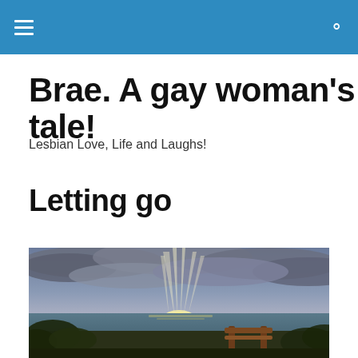Brae. A gay woman's tale!
Lesbian Love, Life and Laughs!
Letting go
[Figure (photo): Outdoor scene showing a dramatic sky with sunrays breaking through clouds over the ocean, with tropical vegetation and a wooden bench/railing in the foreground.]